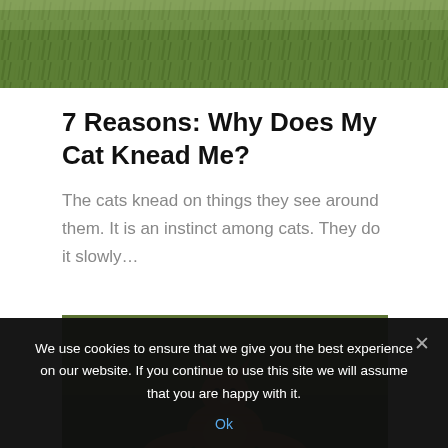[Figure (photo): Partial photo of grass/outdoor background at the top of the page]
7 Reasons: Why Does My Cat Knead Me?
The cats knead on things they see around them. It is an instinct among cats. They do it slowly…
[Figure (photo): Photo of an orange tabby cat stretching/kneading outdoors on grass]
We use cookies to ensure that we give you the best experience on our website. If you continue to use this site we will assume that you are happy with it.
Ok